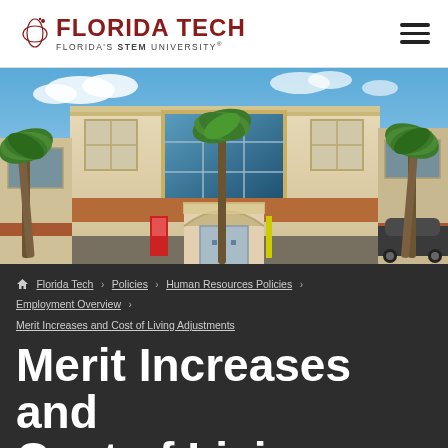FLORIDA TECH — FLORIDA'S STEM UNIVERSITY
[Figure (photo): Exterior photo of Florida Tech building with palm trees in front, blue sky with clouds, arched entrance with glass doors, red vending machine at left, dark SUV at right.]
Florida Tech > Policies > Human Resources Policies > Employment Overview > Merit Increases and Cost of Living Adjustments
Merit Increases and Cost of Living Adjustments